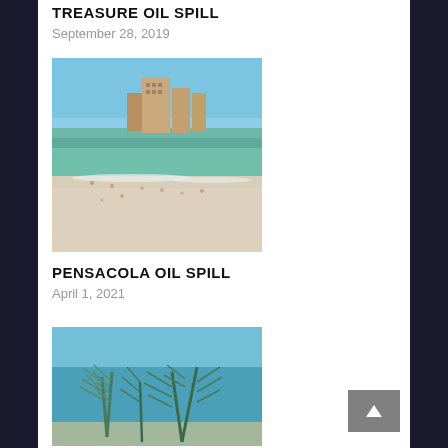TREASURE OIL SPILL
September 28, 2019
[Figure (photo): Aerial view of a crowded beach with turquoise water, white sand, and hotel buildings in the background under a blue sky]
PENSACOLA OIL SPILL
April 1, 2021
[Figure (photo): Underwater photograph of coral or seaweed with feathery green branches against a blue ocean background]